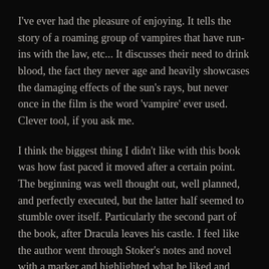I've ever had the pleasure of enjoying. It tells the story of a roaming group of vampires that have run-ins with the law, etc... It discusses their need to drink blood, the fact they never age and heavily showcases the damaging effects of the sun's rays, but never once in the film is the word 'vampire' ever used. Clever tool, if you ask me.
I think the biggest thing I didn't like with this book was how fast paced it moved after a certain point. The beginning was well thought out, well planned, and perfectly executed, but the latter half seemed to stumble over itself. Particularly the second part of the book, after Dracula leaves his castle. I feel like the author went through Stoker's notes and novel with a marker and highlighted what he liked and made up some of his own plot, but never took the time to